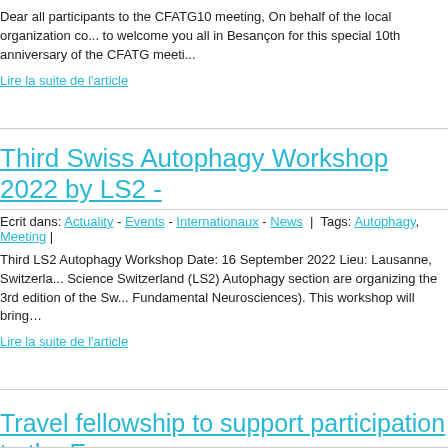Dear all participants to the CFATG10 meeting, On behalf of the local organization co... to welcome you all in Besançon for this special 10th anniversary of the CFATG meeti...
Lire la suite de l'article
Third Swiss Autophagy Workshop 2022 by LS2 -
Ecrit dans: Actuality - Events - Internationaux - News | Tags: Autophagy, Meeting |
Third LS2 Autophagy Workshop Date: 16 September 2022 Lieu: Lausanne, Switzerla... Science Switzerland (LS2) Autophagy section are organizing the 3rd edition of the Sw... Fundamental Neurosciences). This workshop will bring…
Lire la suite de l'article
Travel fellowship to support participation to the E... June/July 2022